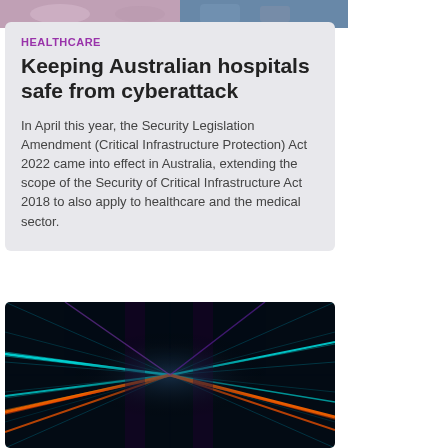[Figure (photo): Healthcare/medical themed image strip at the top of the card]
HEALTHCARE
Keeping Australian hospitals safe from cyberattack
In April this year, the Security Legislation Amendment (Critical Infrastructure Protection) Act 2022 came into effect in Australia, extending the scope of the Security of Critical Infrastructure Act 2018 to also apply to healthcare and the medical sector.
[Figure (photo): Abstract digital data center corridor with orange and cyan light streaks suggesting high-speed data or cyberattack visuals]